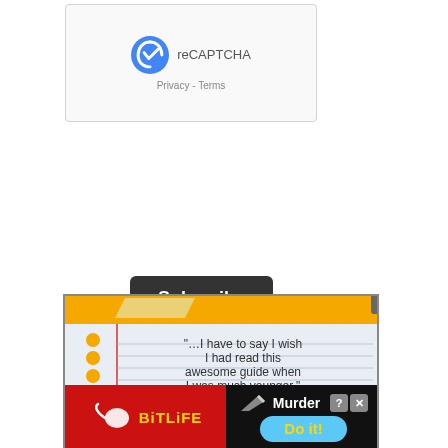[Figure (screenshot): reCAPTCHA widget box with logo and Privacy - Terms links]
Subscribe
[Figure (screenshot): Notepad-style advertisement image with quote: "...I have to say I wish I had read this awesome guide when I was much younger." Scientific American, overlaid with a BitLife mobile game ad and a Close X button]